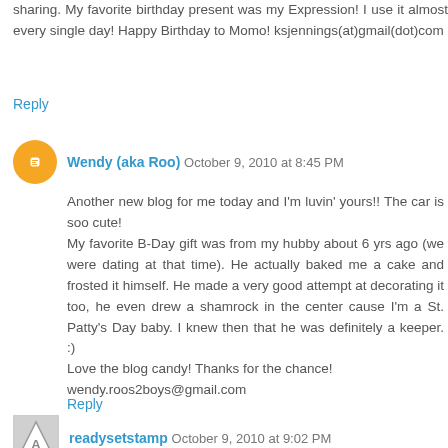sharing. My favorite birthday present was my Expression! I use it almost every single day! Happy Birthday to Momo! ksjennings(at)gmail(dot)com
Reply
Wendy (aka Roo)  October 9, 2010 at 8:45 PM
Another new blog for me today and I'm luvin' yours!! The car is soo cute!
My favorite B-Day gift was from my hubby about 6 yrs ago (we were dating at that time). He actually baked me a cake and frosted it himself. He made a very good attempt at decorating it too, he even drew a shamrock in the center cause I'm a St. Patty's Day baby. I knew then that he was definitely a keeper. :)
Love the blog candy! Thanks for the chance!
wendy.roos2boys@gmail.com
Reply
readysetstamp  October 9, 2010 at 9:02 PM